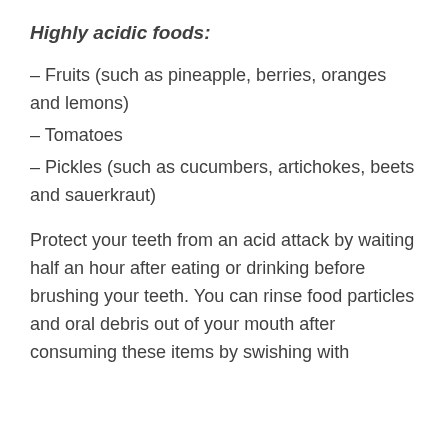Highly acidic foods:
– Fruits (such as pineapple, berries, oranges and lemons)
– Tomatoes
– Pickles (such as cucumbers, artichokes, beets and sauerkraut)
Protect your teeth from an acid attack by waiting half an hour after eating or drinking before brushing your teeth. You can rinse food particles and oral debris out of your mouth after consuming these items by swishing with